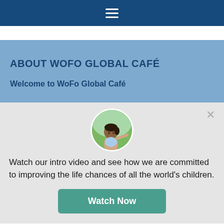☰ (hamburger menu icon)
ABOUT WOFO GLOBAL CAFÉ
Welcome to WoFo Global Café
[Figure (photo): Circular avatar photo of a young girl looking upward with hand outstretched, against a green blurred background]
Watch our intro video and see how we are committed to improving the life chances of all the world's children.
Watch Now